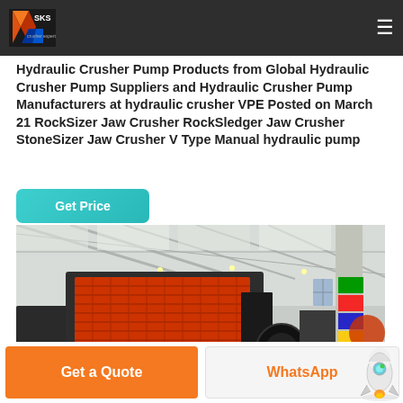SKS crusher expert
Hydraulic Crusher Pump Products from Global Hydraulic Crusher Pump Suppliers and Hydraulic Crusher Pump Manufacturers at hydraulic crusher VPE Posted on March 21 RockSizer Jaw Crusher RockSledger Jaw Crusher StoneSizer Jaw Crusher V Type Manual hydraulic pump
[Figure (other): Teal/cyan 'Get Price' button]
[Figure (photo): Industrial machinery photo showing a large jaw crusher or impact crusher machine inside a factory/warehouse with steel roof structure, concrete columns with flags, and other heavy equipment visible in the background]
Get a Quote
WhatsApp